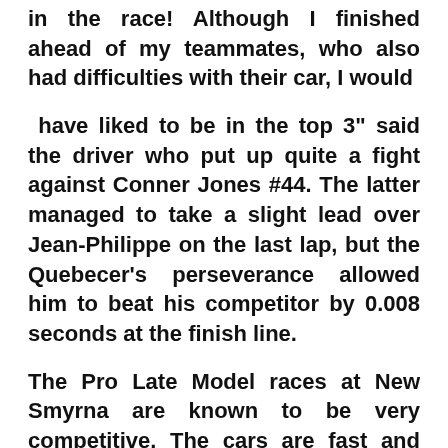in the race! Although I finished ahead of my teammates, who also had difficulties with their car, I would
have liked to be in the top 3" said the driver who put up quite a fight against Conner Jones #44. The latter managed to take a slight lead over Jean-Philippe on the last lap, but the Quebecer's perseverance allowed him to beat his competitor by 0.008 seconds at the finish line.
The Pro Late Model races at New Smyrna are known to be very competitive. The cars are fast and there are some great drivers